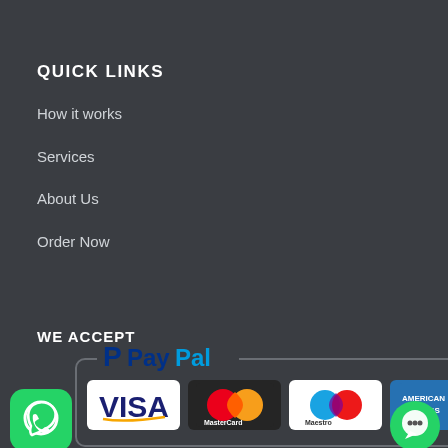QUICK LINKS
How it works
Services
About Us
Order Now
WE ACCEPT
[Figure (logo): Payment methods: PayPal, VISA, MasterCard, Maestro, American Express logos in a rounded rectangle container, with WhatsApp icon on the left and a chat icon on the right]